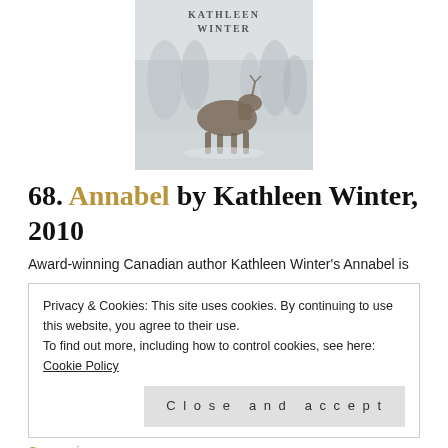[Figure (photo): Book cover of Annabel by Kathleen Winter, showing a reindeer or caribou in a snowy winter scene, with the author name KATHLEEN WINTER at the top]
68. Annabel by Kathleen Winter, 2010
Award-winning Canadian author Kathleen Winter's Annabel is
Privacy & Cookies: This site uses cookies. By continuing to use this website, you agree to their use.
To find out more, including how to control cookies, see here: Cookie Policy
Close and accept
See reviews